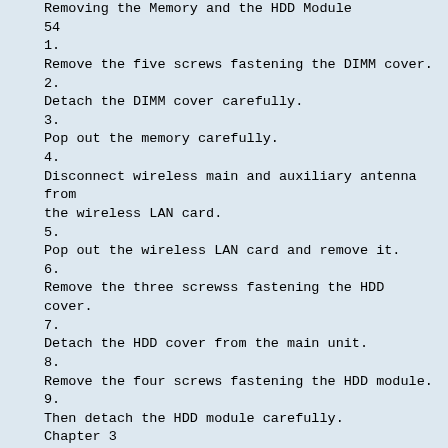Removing the Memory and the HDD Module
54
1.
Remove the five screws fastening the DIMM cover.
2.
Detach the DIMM cover carefully.
3.
Pop out the memory carefully.
4.
Disconnect wireless main and auxiliary antenna from the wireless LAN card.
5.
Pop out the wireless LAN card and remove it.
6.
Remove the three screwss fastening the HDD cover.
7.
Detach the HDD cover from the main unit.
8.
Remove the four screws fastening the HDD module.
9.
Then detach the HDD module carefully.
Chapter 3
Removing the ODD Module
1.
First, remove the screw fastening the ODD module as shown.
2.
Push the ODD module outwards then remove it.
Removing the LCD Module
1.
Detach the middle cover from the main uiit carefully.
2.
Disconnect the launch board FFC from the launch